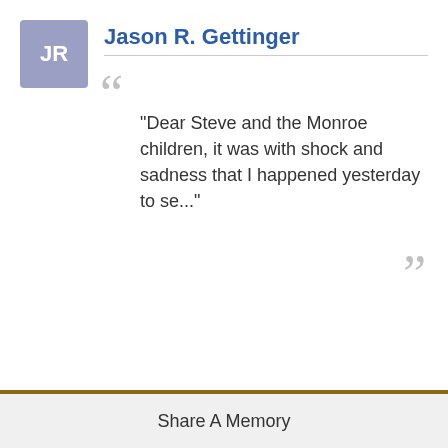Jason R. Gettinger
"Dear Steve and the Monroe children, it was with shock and sadness that I happened yesterday to se..."
[Figure (photo): Close-up photograph of white lily flowers with green stems and dark stamens on a light blue/white background]
Share A Memory